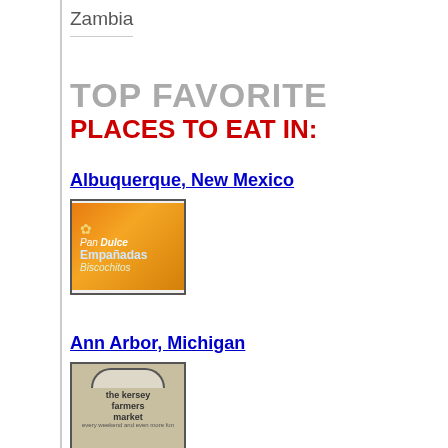Zambia
TOP FAVORITE
PLACES TO EAT IN:
Albuquerque, New Mexico
[Figure (photo): Orange sign with text reading Pan Dulce, Empañadas, Biscochitos with flower decorations]
Ann Arbor, Michigan
[Figure (photo): Sign for the Kersey Farmers Market with an arched building facade visible]